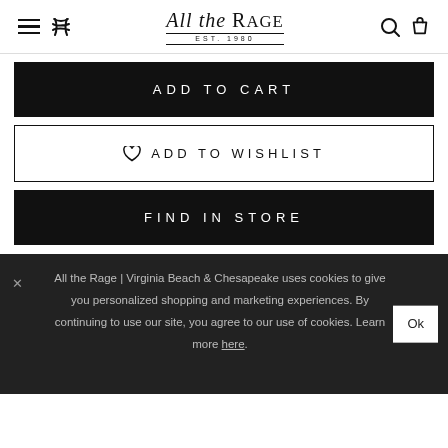All the Rage EST. 1980
ADD TO CART
♡ ADD TO WISHLIST
FIND IN STORE
All the Rage | Virginia Beach & Chesapeake uses cookies to give you personalized shopping and marketing experiences. By continuing to use our site, you agree to our use of cookies. Learn more here.